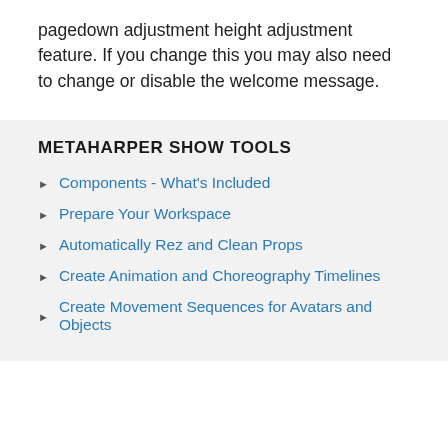pagedown adjustment height adjustment feature. If you change this you may also need to change or disable the welcome message.
METAHARPER SHOW TOOLS
Components - What's Included
Prepare Your Workspace
Automatically Rez and Clean Props
Create Animation and Choreography Timelines
Create Movement Sequences for Avatars and Objects